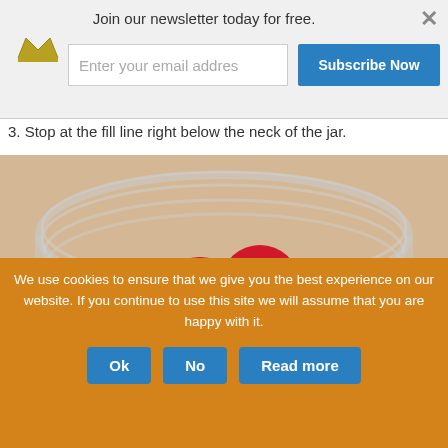[Figure (screenshot): Newsletter subscription banner with crown icon, email input field, Subscribe Now button, and close button]
3. Stop at the fill line right below the neck of the jar.
[Figure (photo): Close-up photo of red cherries/cranberries inside a glass mason jar, viewed from above, on a light wooden surface]
We use cookies to ensure that we give you the best experience on our website. If you continue to use this site we will assume that you are happy with it.